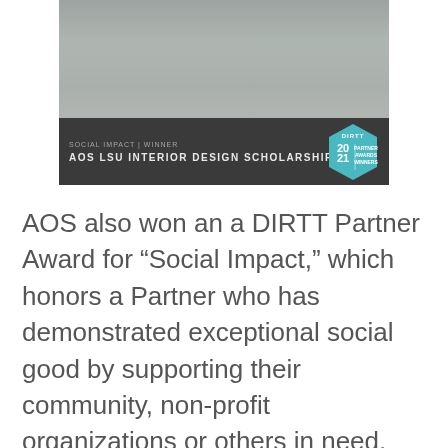[Figure (photo): Group photo of people at an event. Below the photo is a dark banner with text 'SOCIAL IMPACT | WINNER' and 'AOS LSU INTERIOR DESIGN SCHOLARSHIP'. A teal hexagonal badge on the right reads 'DIRTT 2021 PARTNER AWARDS WINNERS'.]
AOS also won an a DIRTT Partner Award for “Social Impact,” which honors a Partner who has demonstrated exceptional social good by supporting their community, non-profit organizations or others in need.
To help foster more diversity within the Architecture and